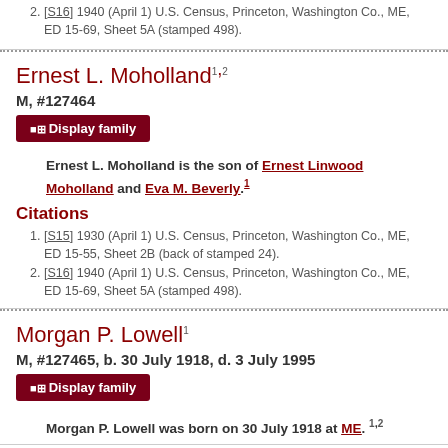[S16] 1940 (April 1) U.S. Census, Princeton, Washington Co., ME, ED 15-69, Sheet 5A (stamped 498).
Ernest L. Moholland
M, #127464
Display family
Ernest L. Moholland is the son of Ernest Linwood Moholland and Eva M. Beverly.
Citations
[S15] 1930 (April 1) U.S. Census, Princeton, Washington Co., ME, ED 15-55, Sheet 2B (back of stamped 24).
[S16] 1940 (April 1) U.S. Census, Princeton, Washington Co., ME, ED 15-69, Sheet 5A (stamped 498).
Morgan P. Lowell
M, #127465, b. 30 July 1918, d. 3 July 1995
Display family
Morgan P. Lowell was born on 30 July 1918 at ME.